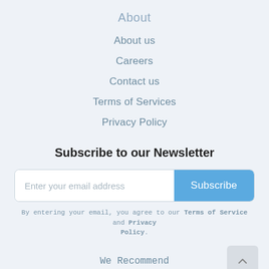About
About us
Careers
Contact us
Terms of Services
Privacy Policy
Subscribe to our Newsletter
Enter your email address  Subscribe
By entering your email, you agree to our Terms of Service and Privacy Policy.
We Recommend